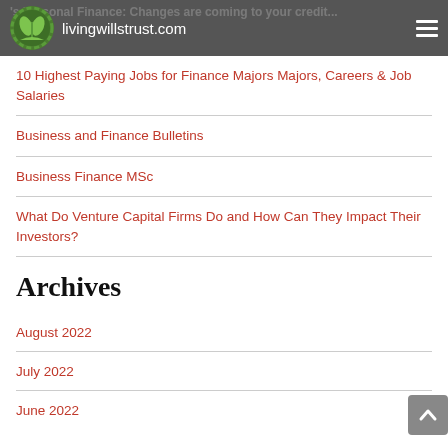livingwillstrust.com
10 Highest Paying Jobs for Finance Majors Majors, Careers & Job Salaries
Business and Finance Bulletins
Business Finance MSc
What Do Venture Capital Firms Do and How Can They Impact Their Investors?
Archives
August 2022
July 2022
June 2022